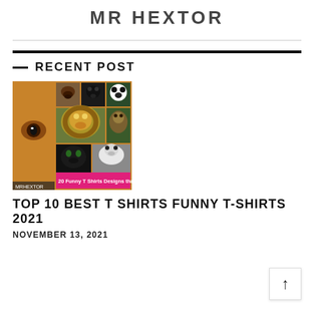MR HEXTOR
— RECENT POST
[Figure (photo): Collage of animal face t-shirts including lion, bear, panda, panther, and other animals. A label reads '20 Funny T Shirts Designs that will make']
TOP 10 BEST T SHIRTS FUNNY T-SHIRTS 2021
NOVEMBER 13, 2021